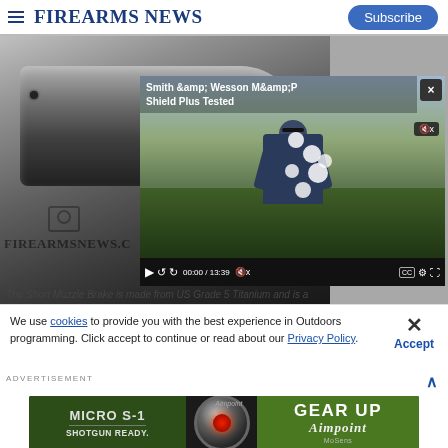Firearms News | Subscribe
[Figure (screenshot): Screenshot of FirearmsNews.com webpage showing a Smith & Wesson M&P Shield Plus video player overlaid on a gun barrel photo, with video title 'Smith &amp; Wesson M&amp;P Shield Plus Tested', timestamp 00:00 / 13:39, and the FirearmsNews.com watermark]
The Short Muzzle Brake is made from US Grade 5 Titanium and is a
We use cookies to provide you with the best experience in Outdoors programming. Click accept to continue or read about our Privacy Policy.
[Figure (screenshot): Aimpoint Micro S-1 red dot sight advertisement with text: MICRO S-1, SHOTGUN READY., GEAR UP, Aimpoint]